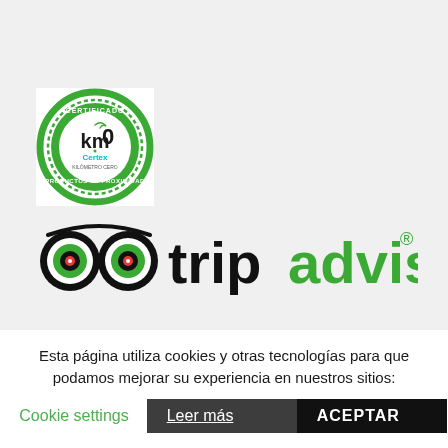[Figure (logo): Km0 Certificado Certex Productos de Proximidad circular green badge logo]
[Figure (logo): TripAdvisor logo with owl icon and brand name in teal/black text]
Esta página utiliza cookies y otras tecnologías para que podamos mejorar su experiencia en nuestros sitios:
Cookie settings   Leer más   ACEPTAR